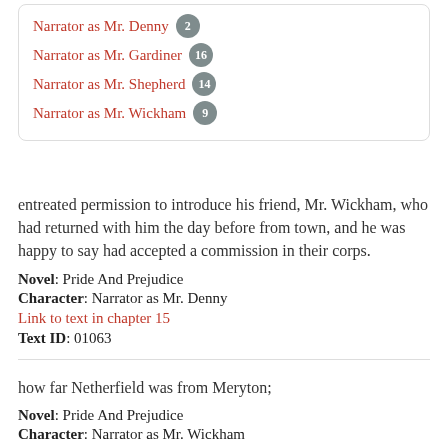Narrator as Mr. Denny 2
Narrator as Mr. Gardiner 16
Narrator as Mr. Shepherd 14
Narrator as Mr. Wickham 9
entreated permission to introduce his friend, Mr. Wickham, who had returned with him the day before from town, and he was happy to say had accepted a commission in their corps.
Novel: Pride And Prejudice
Character: Narrator as Mr. Denny
Link to text in chapter 15
Text ID: 01063
how far Netherfield was from Meryton;
Novel: Pride And Prejudice
Character: Narrator as Mr. Wickham
Link to text in chapter 16
Text ID: 01134